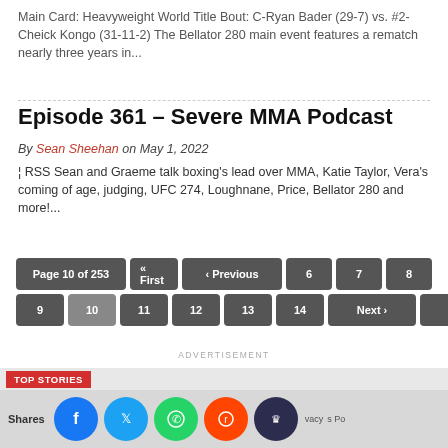Main Card: Heavyweight World Title Bout: C-Ryan Bader (29-7) vs. #2-Cheick Kongo (31-11-2) The Bellator 280 main event features a rematch nearly three years in...
Episode 361 – Severe MMA Podcast
By Sean Sheehan on May 1, 2022
¦ RSS Sean and Graeme talk boxing's lead over MMA, Katie Taylor, Vera's coming of age, judging, UFC 274, Loughnane, Price, Bellator 280 and more!...
Page 10 of 253 « First ‹ Previous 6 7 8 9 10 11 12 13 14 Next › Last »
ADVERTISEMENT
TOP STORIES
Shares